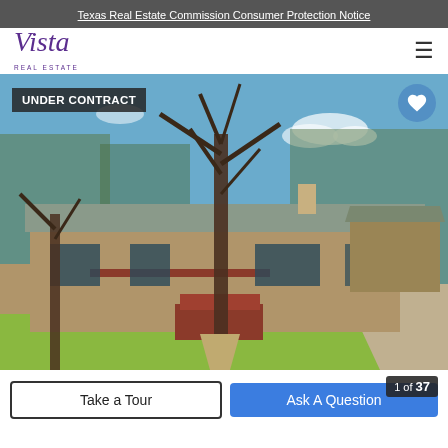Texas Real Estate Commission Consumer Protection Notice
[Figure (logo): Vista Real Estate logo in purple italic script with 'REAL ESTATE' subtitle]
[Figure (photo): Exterior photo of a single-story brick ranch house with metal roof, large bare oak trees in front, green lawn, red wood front steps and porch, with a gravel driveway to the right. Blue sky with scattered clouds. Badge reading UNDER CONTRACT in the top-left and a heart/favorite button in the top-right.]
UNDER CONTRACT
Take a Tour
Ask A Question
1 of 37